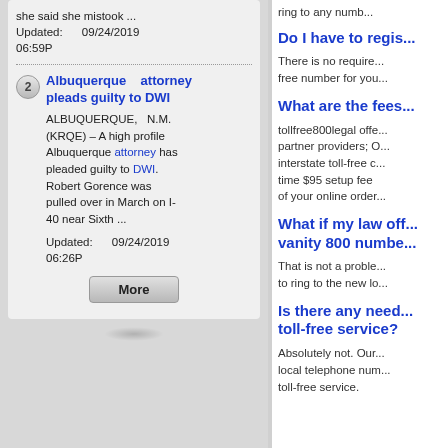she said she mistook ...
Updated: 09/24/2019 06:59P
2. Albuquerque attorney pleads guilty to DWI — ALBUQUERQUE, N.M. (KRQE) – A high profile Albuquerque attorney has pleaded guilty to DWI. Robert Gorence was pulled over in March on I-40 near Sixth ...
Updated: 09/24/2019 06:26P
Do I have to regis...
There is no require... free number for you...
What are the fees...
tollfree800legal offe... partner providers; O... interstate toll-free c... time $95 setup fee... of your online order...
What if my law off... vanity 800 numbe...
That is not a proble... to ring to the new lo...
Is there any need... toll-free service?
Absolutely not. Our... local telephone num... toll-free service.